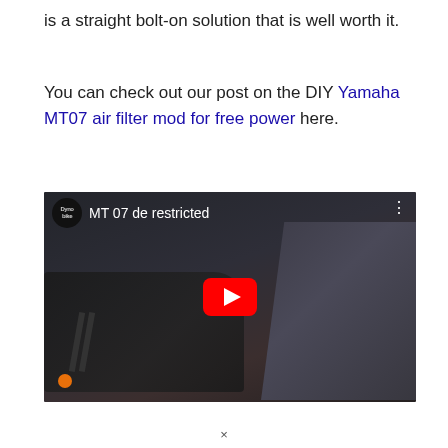is a straight bolt-on solution that is well worth it.
You can check out our post on the DIY Yamaha MT07 air filter mod for free power here.
[Figure (screenshot): YouTube video thumbnail for 'MT 07 de restricted' by Dynobike channel, showing a mechanic standing next to a Yamaha MT-07 motorcycle in a workshop, with a red YouTube play button overlay in the center.]
×